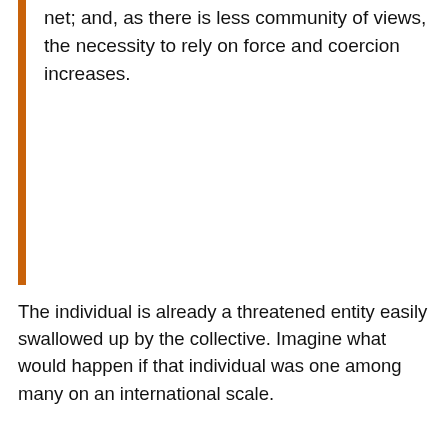net; and, as there is less community of views, the necessity to rely on force and coercion increases.
The individual is already a threatened entity easily swallowed up by the collective. Imagine what would happen if that individual was one among many on an international scale.
When in wartime Americans were asked to make sacrifices in the name of national security, it was easier to enforce these rationing policies because the of the guise of national solitude. But when asked to make sacrifices in the for unnamed people in a foreign country whose name you cannot even pronounce, this becomes a much harder task.